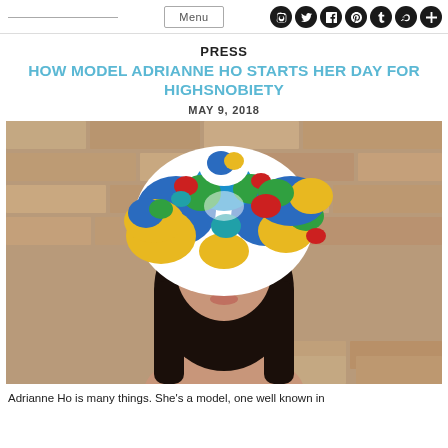Menu [social icons: Instagram, Twitter, Facebook, Pinterest, Tumblr, SoundCloud, Plus]
PRESS
HOW MODEL ADRIANNE HO STARTS HER DAY FOR HIGHSNOBIETY
MAY 9, 2018
[Figure (photo): Close-up portrait of model Adrianne Ho wearing a colorful floral-patterned turban/head wrap with blue, yellow, green, red and white patterns, against a stone brick wall background.]
Adrianne Ho is many things. She's a model, one well known in